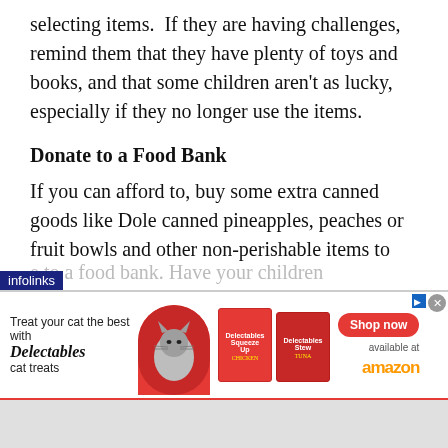selecting items.  If they are having challenges, remind them that they have plenty of toys and books, and that some children aren't as lucky, especially if they no longer use the items.
Donate to a Food Bank
If you can afford to, buy some extra canned goods like Dole canned pineapples, peaches or fruit bowls and other non-perishable items to
[Figure (screenshot): Infolinks advertisement banner for Delectables cat treats, showing a cat image, product boxes, 'Shop now' button, and 'available at amazon' text on a red/white background.]